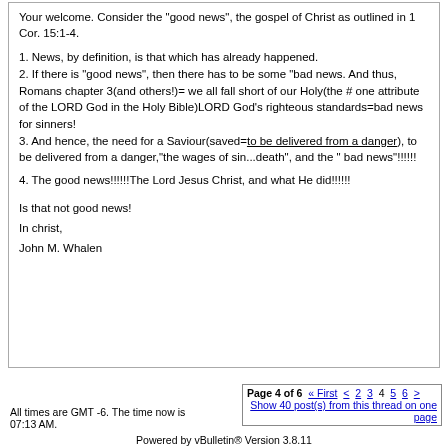Your welcome. Consider the "good news", the gospel of Christ as outlined in 1 Cor. 15:1-4.
1. News, by definition, is that which has already happened.
2. If there is "good news", then there has to be some "bad news. And thus, Romans chapter 3(and others!)= we all fall short of our Holy(the # one attribute of the LORD God in the Holy Bible)LORD God's righteous standards=bad news for sinners!
3. And hence, the need for a Saviour(saved=to be delivered from a danger), to be delivered from a danger,"the wages of sin...death", and the " bad news"!!!!!!
4. The good news!!!!!!The Lord Jesus Christ, and what He did!!!!!!
Is that not good news!
In christ,
John M. Whalen
All times are GMT -6. The time now is 07:13 AM.
Page 4 of 6  « First  <  2  3  4  5  6  >
Show 40 post(s) from this thread on one page
Powered by vBulletin® Version 3.8.11